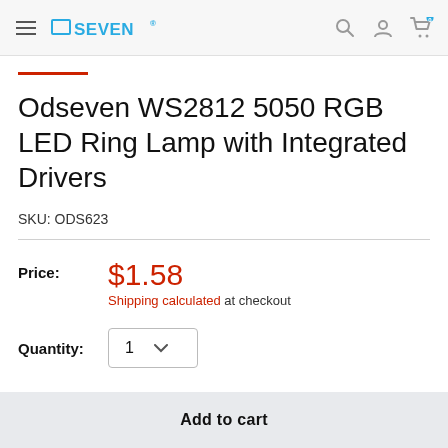ODSEVEN (logo) — navigation with search, account, cart icons
Odseven WS2812 5050 RGB LED Ring Lamp with Integrated Drivers
SKU: ODS623
Price: $1.58
Shipping calculated at checkout
Quantity: 1
Add to cart